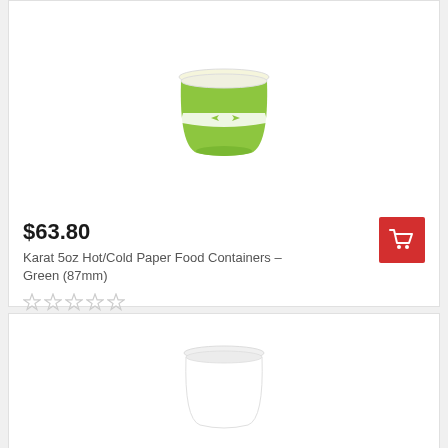[Figure (photo): Green paper food container (Karat 5oz Hot/Cold Paper Food Containers - Green 87mm)]
$63.80
Karat 5oz Hot/Cold Paper Food Containers – Green (87mm)
[Figure (illustration): Shopping cart button icon (red background, white cart icon)]
☆☆☆☆☆
[Figure (photo): White paper food container (partially visible at bottom of page)]